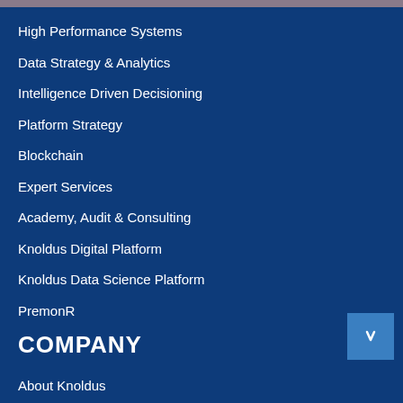High Performance Systems
Data Strategy & Analytics
Intelligence Driven Decisioning
Platform Strategy
Blockchain
Expert Services
Academy, Audit & Consulting
Knoldus Digital Platform
Knoldus Data Science Platform
PremonR
COMPANY
About Knoldus